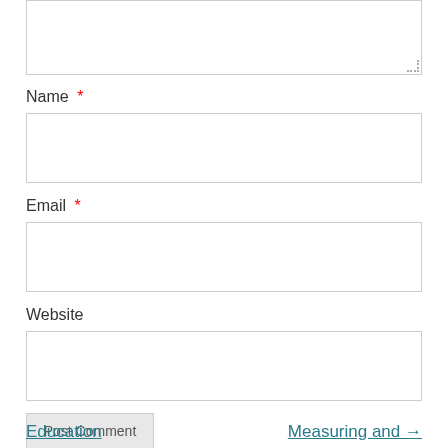[Figure (screenshot): Textarea input box (comment field) at the top of the page, partially visible]
Name *
[Figure (screenshot): Name input text field]
Email *
[Figure (screenshot): Email input text field]
Website
[Figure (screenshot): Website input text field]
Post Comment
Education   Measuring and →